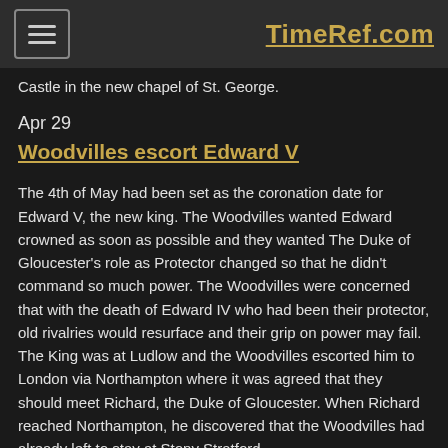TimeRef.com
Castle in the new chapel of St. George.
Apr 29
Woodvilles escort Edward V
The 4th of May had been set as the coronation date for Edward V, the new king. The Woodvilles wanted Edward crowned as soon as possible and they wanted The Duke of Gloucester's role as Protector changed so that he didn't command so much power. The Woodvilles were concerned that with the death of Edward IV who had been their protector, old rivalries would resurface and their grip on power may fail. The King was at Ludlow and the Woodvilles escorted him to London via Northampton where it was agreed that they should meet Richard, the Duke of Gloucester. When Richard reached Northampton, he discovered that the Woodvilles had already left to stay at Stony Stratford...